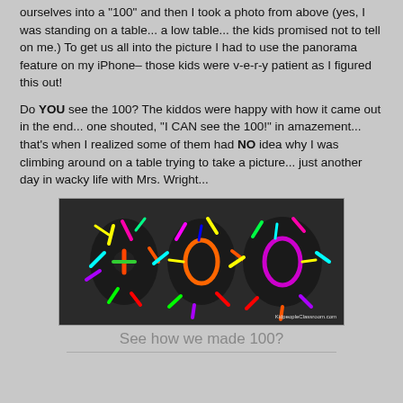paper that they then put on the headband. Why? We put ourselves into a "100" and then I took a photo from above (yes, I was standing on a table... a low table... the kids promised not to tell on me.) To get us all into the picture I had to use the panorama feature on my iPhone– those kids were v-e-r-y patient as I figured this out!

Do YOU see the 100? The kiddos were happy with how it came out in the end... one shouted, "I CAN see the 100!" in amazement... that's when I realized some of them had NO idea why I was climbing around on a table trying to take a picture... just another day in wacky life with Mrs. Wright...
[Figure (photo): Overhead photo of colorful pipe cleaners arranged to form the number 100 on a dark surface. The pipe cleaners are bright multicolored (yellow, green, pink, orange, purple, blue). Watermark reads KidpeopleClassroom.com]
See how we made 100?